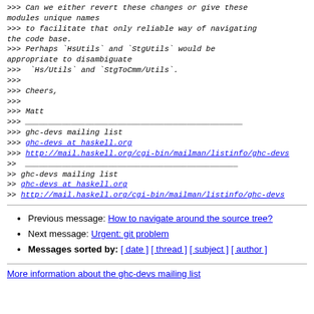>>> Can we either revert these changes or give these modules unique names
>>> to facilitate that only reliable way of navigating the code base.
>>> Perhaps `HsUtils` and `StgUtils` would be appropriate to disambiguate
>>>  `Hs/Utils` and `StgToCmm/Utils`.
>>>
>>> Cheers,
>>>
>>> Matt
>>> _______________________________________________
>>> ghc-devs mailing list
>>> ghc-devs at haskell.org
>>> http://mail.haskell.org/cgi-bin/mailman/listinfo/ghc-devs
>>
>> ______________________________________________
>> ghc-devs mailing list
>> ghc-devs at haskell.org
>> http://mail.haskell.org/cgi-bin/mailman/listinfo/ghc-devs
Previous message: How to navigate around the source tree?
Next message: Urgent: git problem
Messages sorted by: [ date ] [ thread ] [ subject ] [ author ]
More information about the ghc-devs mailing list